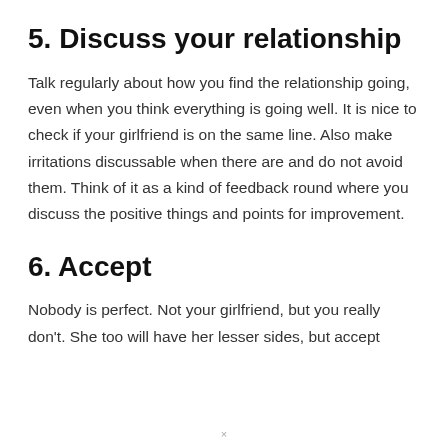5. Discuss your relationship
Talk regularly about how you find the relationship going, even when you think everything is going well. It is nice to check if your girlfriend is on the same line. Also make irritations discussable when there are and do not avoid them. Think of it as a kind of feedback round where you discuss the positive things and points for improvement.
6. Accept
Nobody is perfect. Not your girlfriend, but you really don't. She too will have her lesser sides, but accept